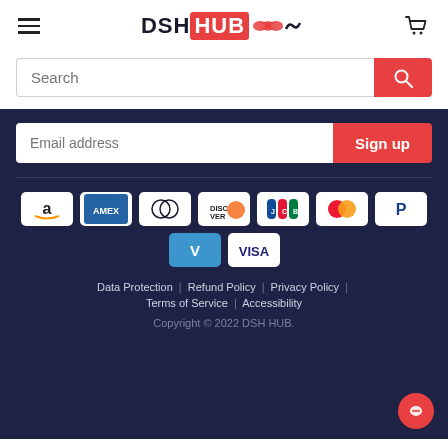[Figure (logo): DSH HUB logo with hamburger menu and cart icon in header]
Search
Email address
Sign up
[Figure (infographic): Payment method icons: Amazon, Amex, Diners Club, Discover, JCB, Mastercard, PayPal, Venmo, Visa]
Data Protection | Refund Policy | Privacy Policy | Terms of Service | Accessibility
Copyright © 2022 DSH HUB.